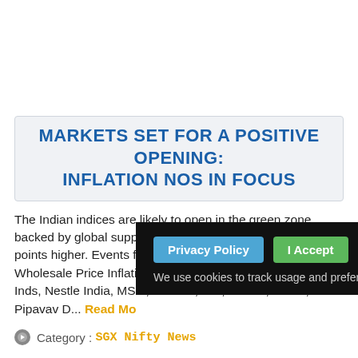MARKETS SET FOR A POSITIVE OPENING: INFLATION NOS IN FOCUS
The Indian indices are likely to open in the green zone backed by global support. SGX Nifty is also trading 33.50 points higher. Events for Friday (February 14, 2014) Wholesale Price Inflation data A-Group results: Britannia Inds, Nestle India, MSM, Unitech, SBI, MMTC, RECL, Pipavav D... Read More
Category : SGX Nifty News